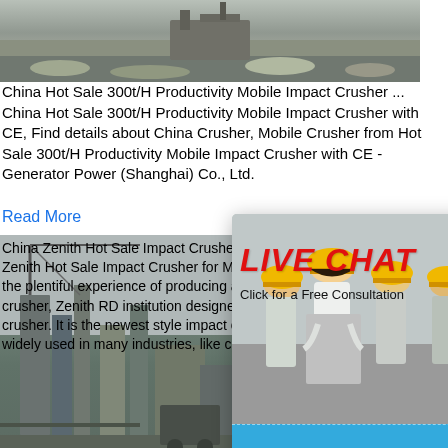[Figure (photo): Aerial or ground-level photo of a quarry/mining site with machinery and gravel]
China Hot Sale 300t/H Productivity Mobile Impact Crusher ...
China Hot Sale 300t/H Productivity Mobile Impact Crusher with CE, Find details about China Crusher, Mobile Crusher from Hot Sale 300t/H Productivity Mobile Impact Crusher with CE - Generator Power (Shanghai) Co., Ltd.
Read More
[Figure (photo): Photo of industrial mining/construction equipment and crane structure at a site]
China Zenith Hot Sale Impact Crusher for Mining
Zenith Hot Sale Impact Crusher for Mining — the plentiful experience of producing and m... crusher, Zenith RD institution designed the ... crusher. It is the newest style impact crushe... widely used in many industries, like chemic...
[Figure (photo): Live Chat popup overlay with workers in yellow helmets, LIVE CHAT label in red italic, 'Click for a Free Consultation', Chat now and Chat later buttons]
[Figure (photo): Blue right sidebar panel showing 'hour online', cone crusher machine photo, 'Click me to chat>>' button, 'Enquiry' section, and 'limingjlmofen' text strip]